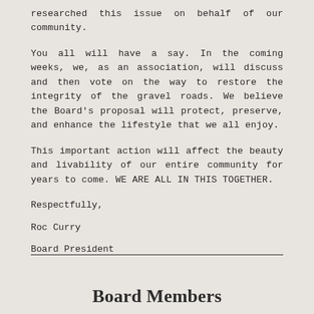researched this issue on behalf of our community.
You all will have a say. In the coming weeks, we, as an association, will discuss and then vote on the way to restore the integrity of the gravel roads. We believe the Board's proposal will protect, preserve, and enhance the lifestyle that we all enjoy.
This important action will affect the beauty and livability of our entire community for years to come. WE ARE ALL IN THIS TOGETHER.
Respectfully,
Roc Curry
Board President
Board Members